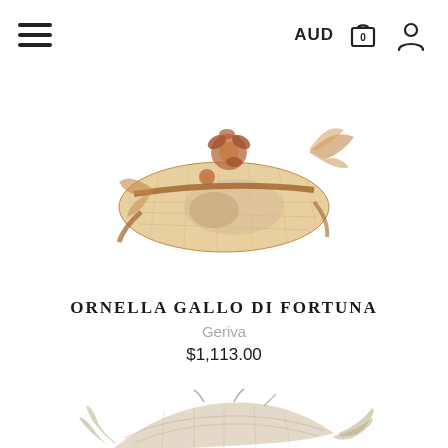AUD
[Figure (photo): A tan/brown sinamay fascinator hat with organza bow, floral embellishments, and lace detailing, photographed on white background]
ORNELLA GALLO DI FORTUNA
Geriva
$1,113.00
[Figure (photo): A light beige/cream fascinator or hair piece with feathers and mesh, partially visible at bottom of page, photographed on white background]